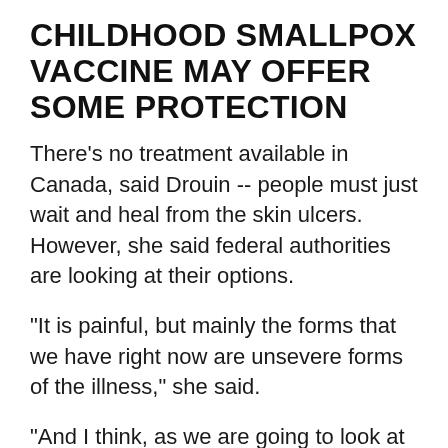CHILDHOOD SMALLPOX VACCINE MAY OFFER SOME PROTECTION
There's no treatment available in Canada, said Drouin -- people must just wait and heal from the skin ulcers. However, she said federal authorities are looking at their options.
"It is painful, but mainly the forms that we have right now are unsevere forms of the illness," she said.
"And I think, as we are going to look at the vaccine, we're also going to look at other possibilities for treatments."
In the United States, she said, there are some monkeypox treatments that have been